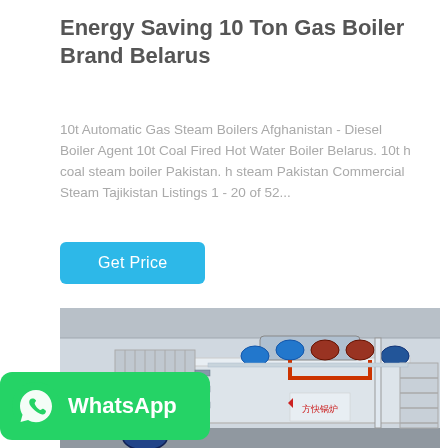Energy Saving 10 Ton Gas Boiler Brand Belarus
10t Automatic Gas Steam Boilers Afghanistan - Diesel Boiler Agent 10t Coal Fired Hot Water Boiler Belarus. 10t h coal steam boiler Pakistan. h steam Pakistan Commercial Steam Tajikistan Listings 1 - 20 of 52...
Get Price
[Figure (photo): Industrial gas boiler system installed in a facility, showing large horizontal boiler with pipes, pumps, and equipment. Chinese text visible on the boiler housing.]
[Figure (logo): WhatsApp badge with green background, phone icon, and WhatsApp text label]